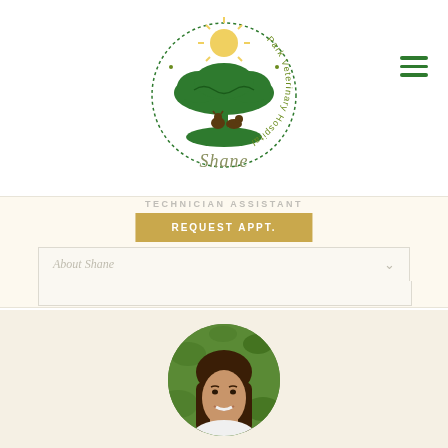[Figure (logo): Park Veterinary Hospital circular logo with sun, tree, and animals, with cursive text 'Shane' below]
TECHNICIAN ASSISTANT
[Figure (other): Golden/tan button with text REQUEST APPT.]
About Shane
[Figure (photo): Circular profile photo of a young woman with long brown hair, smiling, against a green leafy background]